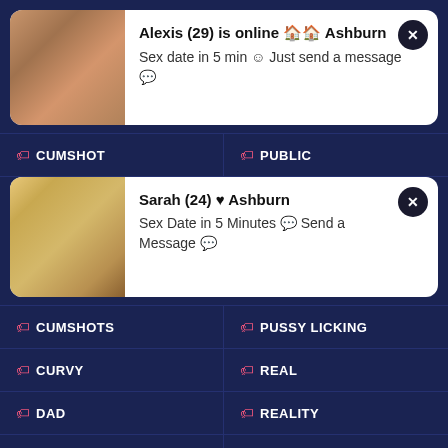[Figure (photo): Notification card with photo of woman - Alexis (29) is online in Ashburn]
Alexis (29) is online 🏠🏠 Ashburn
Sex date in 5 min 😊 Just send a message 💬
🏷 CUMSHOT
🏷 PUBLIC
[Figure (photo): Notification card with photo of woman - Sarah (24) Ashburn]
Sarah (24) ♥ Ashburn
Sex Date in 5 Minutes 💬 Send a Message 💬
🏷 CUMSHOTS
🏷 PUSSY LICKING
🏷 CURVY
🏷 REAL
🏷 DAD
🏷 REALITY
🏷 DADDY
🏷 REDHEAD
🏷 DAUGHTER
🏷 REVERSE COWGIRL